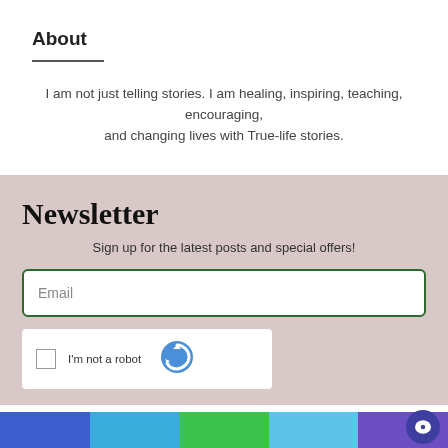About
I am not just telling stories. I am healing, inspiring, teaching, encouraging, and changing lives with True-life stories.
Newsletter
Sign up for the latest posts and special offers!
Email
I'm not a robot